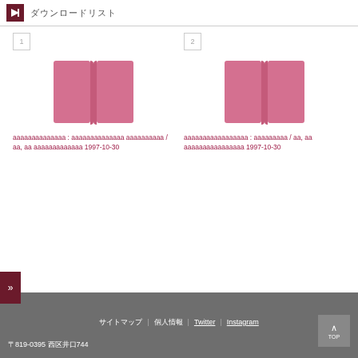ダウンロードリスト
[Figure (illustration): Book cover placeholder for item 1 - two pink rectangular book pages open]
aaaaaaaaaaaaaa : aaaaaaaaaaaaaa aaaaaaaaaa / aa, aa aaaaaaaaaaaaa 1997-10-30
[Figure (illustration): Book cover placeholder for item 2 - two pink rectangular book pages open]
aaaaaaaaaaaaaaaaa : aaaaaaaaa / aa, aa aaaaaaaaaaaaaaaa 1997-10-30
〒819-0395 西区井口744 | サイトマップ | 个人情報 | Twitter | Instagram | TOP